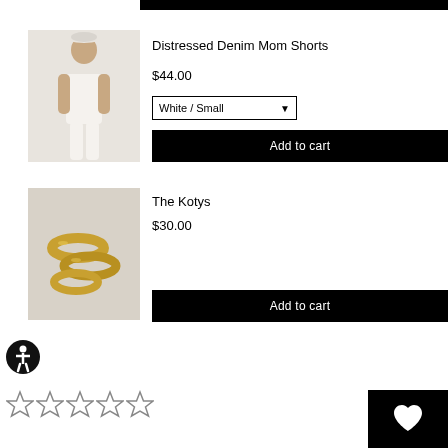[Figure (photo): Woman wearing white distressed denim shorts and beige top with bucket hat]
Distressed Denim Mom Shorts
$44.00
White / Small (dropdown selector)
Add to cart
[Figure (photo): Gold hoop earrings / rings (The Kotys jewelry)]
The Kotys
$30.00
Add to cart
[Figure (illustration): Accessibility person icon (circle with figure)]
[Figure (illustration): Five empty star rating icons]
[Figure (illustration): Heart icon on black button, bottom right]